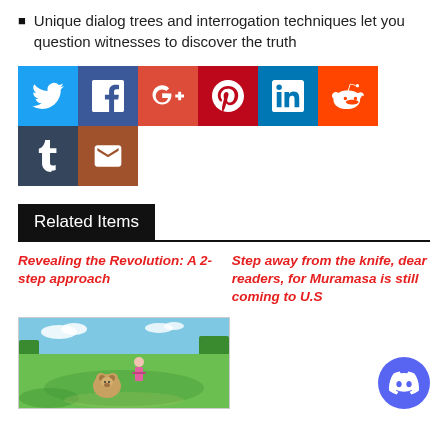Unique dialog trees and interrogation techniques let you question witnesses to discover the truth
[Figure (infographic): Social sharing buttons: Twitter (blue), Facebook (dark blue), Google+ (red-orange), Pinterest (dark red), LinkedIn (blue), Reddit (orange), Tumblr (dark navy), Email (brown)]
Related Items
Revealing the Revolution: A 2-step approach
Step away from the knife, dear readers, for Muramasa is still coming to U.S
[Figure (screenshot): Game screenshot showing a character and a small bear-like creature in a colorful outdoor scene with green hills and blue sky]